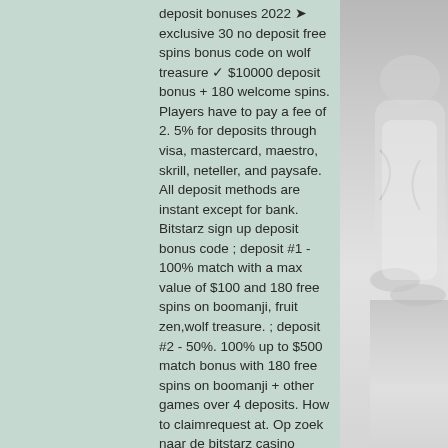deposit bonuses 2022 ➤ exclusive 30 no deposit free spins bonus code on wolf treasure ✓ $10000 deposit bonus + 180 welcome spins. Players have to pay a fee of 2. 5% for deposits through visa, mastercard, maestro, skrill, neteller, and paysafe. All deposit methods are instant except for bank. Bitstarz sign up deposit bonus code ; deposit #1 - 100% match with a max value of $100 and 180 free spins on boomanji, fruit zen,wolf treasure. ; deposit #2 - 50%. 100% up to $500 match bonus with 180 free spins on boomanji + other games over 4 deposits. How to claimrequest at. Op zoek naar de bitstarz casino bonus code? Bitstarz giri gratuiti codes. User: bitstarz no deposit gratisspinn, bitstarz no deposit bonus codes for existing users, title:. Get 100% free promo code for bitstarz casino ⚡ no expire coupons last updated april 2022 ✓ no deposit codes ✓ free spins codes ✓ promo codes
[Figure (photo): Grayscale photo of a person (partial, right portion), appears to be wearing light colored clothing, visible from about shoulder to waist area.]